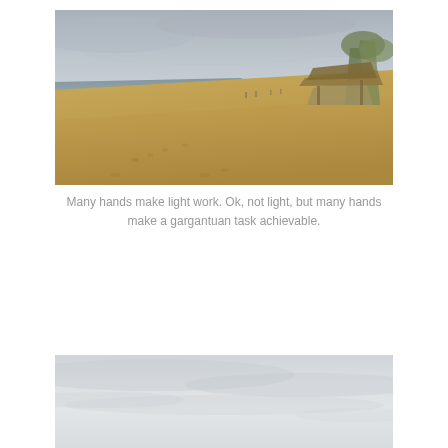[Figure (photo): Panoramic beach scene showing sandy shore with ocean waves on the left, sandy beach in the foreground with footprints, and a thatched beach hut structure with trees on the right side under an overcast sky.]
Many hands make light work. Ok, not light, but many hands make a gargantuan task achievable.
[Figure (photo): Overcast sky with grey clouds, very light and minimal detail, nearly white-grey tone throughout.]